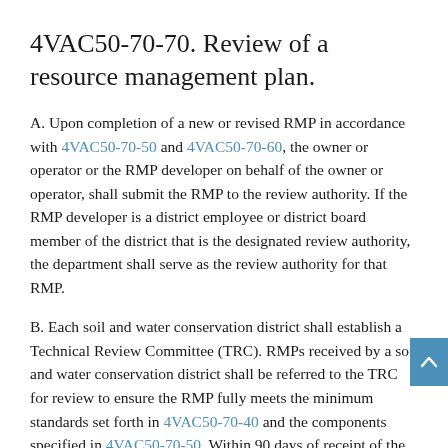4VAC50-70-70. Review of a resource management plan.
A. Upon completion of a new or revised RMP in accordance with 4VAC50-70-50 and 4VAC50-70-60, the owner or operator or the RMP developer on behalf of the owner or operator, shall submit the RMP to the review authority. If the RMP developer is a district employee or district board member of the district that is the designated review authority, the department shall serve as the review authority for that RMP.
B. Each soil and water conservation district shall establish a Technical Review Committee (TRC). RMPs received by a soil and water conservation district shall be referred to the TRC for review to ensure the RMP fully meets the minimum standards set forth in 4VAC50-70-40 and the components specified in 4VAC50-70-50. Within 90 days of receipt of the RMP, the soil and water conservation district shall notify the owner or operator